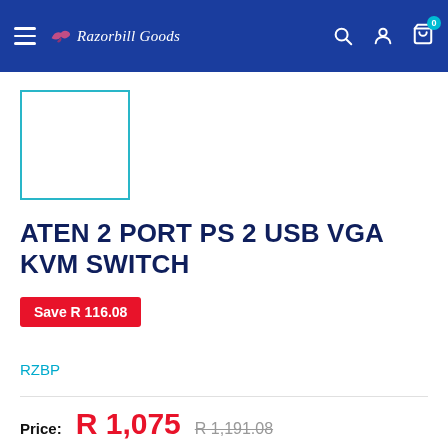Razorbill Goods — navigation bar with hamburger menu, logo, search, account, and cart icons
[Figure (other): Product thumbnail placeholder — empty white box with teal/cyan border]
ATEN 2 PORT PS 2 USB VGA KVM SWITCH
Save R 116.08
RZBP
Price: R 1,075  R 1,191.08